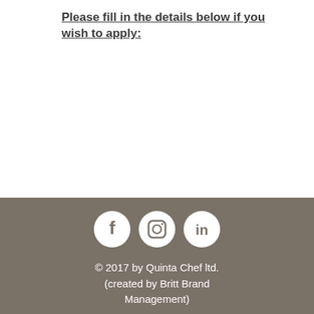Please fill in the details below if you wish to apply:
© 2017 by Quinta Chef ltd. (created by Britt Brand Management)